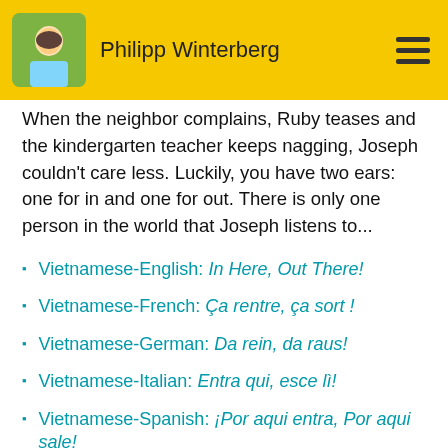Philipp Winterberg
When the neighbor complains, Ruby teases and the kindergarten teacher keeps nagging, Joseph couldn't care less. Luckily, you have two ears: one for in and one for out. There is only one person in the world that Joseph listens to...
Vietnamese-English: In Here, Out There!
Vietnamese-French: Ça rentre, ça sort !
Vietnamese-German: Da rein, da raus!
Vietnamese-Italian: Entra qui, esce lì!
Vietnamese-Spanish: ¡Por aqui entra, Por aqui sale!
80+ languages and dialects